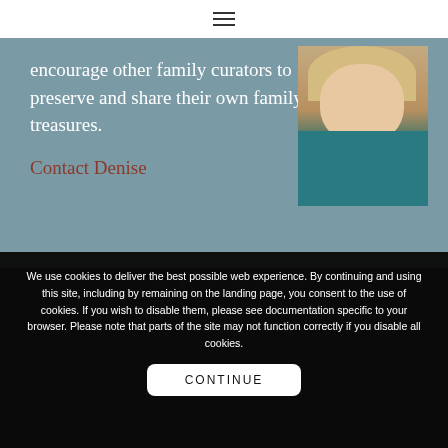≡
encourage other family curators to preserve and share their own family treasures.
Contact Denise
[Figure (photo): Portrait photo of a smiling blonde woman wearing a teal top with a necklace]
FIND ME ON INSTAGRAM
We use cookies to deliver the best possible web experience. By continuing and using this site, including by remaining on the landing page, you consent to the use of cookies. If you wish to disable them, please see documentation specific to your browser. Please note that parts of the site may not function correctly if you disable all cookies.
CONTINUE